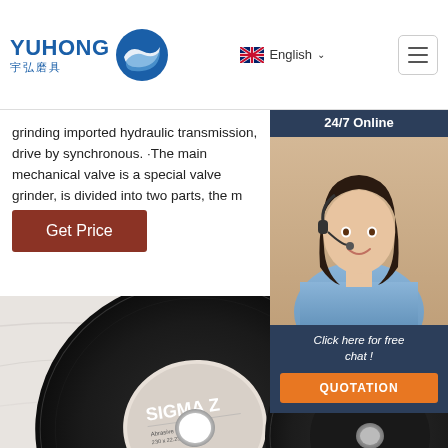[Figure (logo): Yuhong 宇弘磨具 logo with blue wave icon]
English
grinding imported hydraulic transmission, drive by synchronous. ·The main mechanical valve is a special valve grinder, is divided into two parts, the m…
Get Price
[Figure (photo): 24/7 Online chat widget with customer service representative photo, 'Click here for free chat!' text, and QUOTATION button]
[Figure (photo): Two black grinding/cutting discs, one labeled SIGMA Z, on a white marble background. TOP badge visible bottom right.]